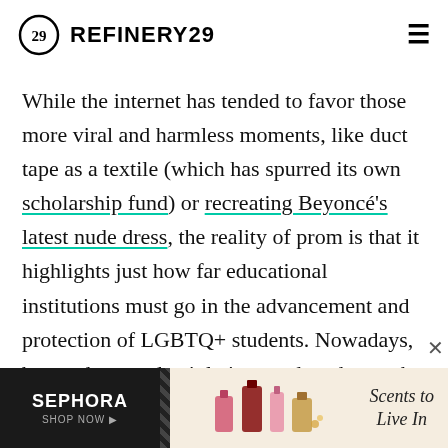REFINERY29
While the internet has tended to favor those more viral and harmless moments, like duct tape as a textile (which has spurred its own scholarship fund) or recreating Beyoncé's latest nude dress, the reality of prom is that it highlights just how far educational institutions must go in the advancement and protection of LGBTQ+ students. Nowadays, bogus dress code violations and students who are deemed too gay to even go rule headlines.
Today's youth is getting queerer by the generation, which makes prom even less inviting to those who don't fit the social [ad obscures] nce those d[ad obscures]m so
[Figure (screenshot): Sephora advertisement banner with text 'Scents to Live In' and perfume bottle images]